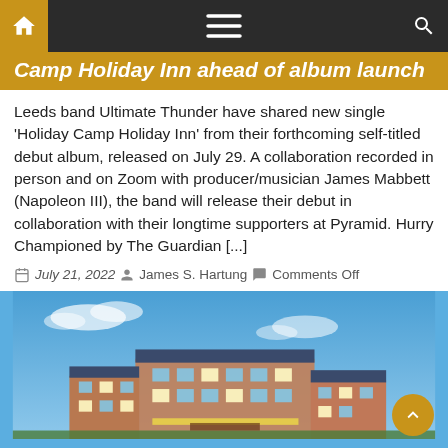Navigation bar with home, menu, and search icons
Camp Holiday Inn ahead of album launch
Leeds band Ultimate Thunder have shared new single 'Holiday Camp Holiday Inn' from their forthcoming self-titled debut album, released on July 29. A collaboration recorded in person and on Zoom with producer/musician James Mabbett (Napoleon III), the band will release their debut in collaboration with their longtime supporters at Pyramid. Hurry Championed by The Guardian [...]
July 21, 2022  James S. Hartung  Comments Off
[Figure (photo): Exterior photo of a Holiday Inn hotel building under a blue sky, with illuminated signage and residential-style architecture]